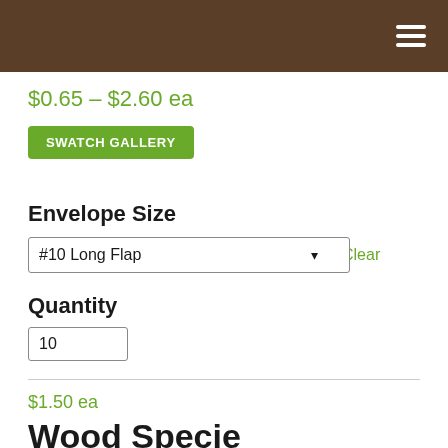Navigation bar with hamburger menu
$0.65 – $2.60 ea
SWATCH GALLERY
Envelope Size
#10 Long Flap
Clear
Quantity
10
$1.50 ea
Wood Specie
None